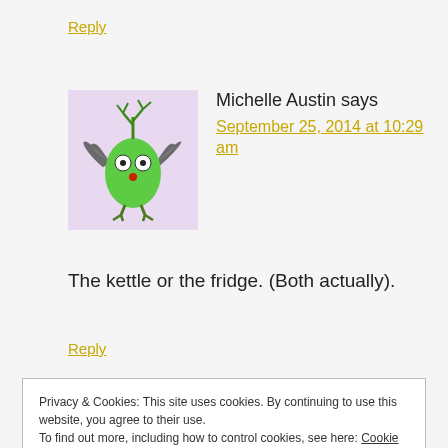Reply
[Figure (illustration): Cartoon monster avatar: green oval-shaped creature with bat wings, antler-like green branches on head, two round eyes, red nose, and bird-like feet, on a lavender/purple background.]
Michelle Austin says
September 25, 2014 at 10:29 am
The kettle or the fridge. (Both actually).
Reply
Privacy & Cookies: This site uses cookies. By continuing to use this website, you agree to their use.
To find out more, including how to control cookies, see here: Cookie Policy
Close and accept
Can't live without my washing machine – though